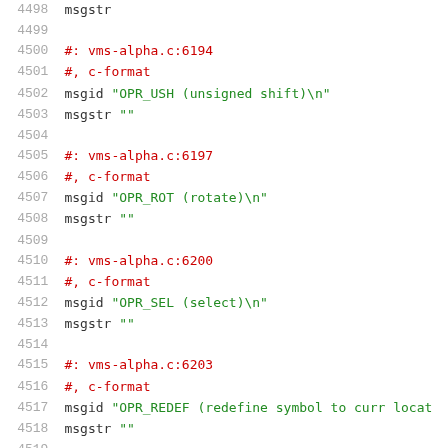4498  msgstr
4499
4500  #: vms-alpha.c:6194
4501  #, c-format
4502  msgid "OPR_USH (unsigned shift)\n"
4503  msgstr ""
4504
4505  #: vms-alpha.c:6197
4506  #, c-format
4507  msgid "OPR_ROT (rotate)\n"
4508  msgstr ""
4509
4510  #: vms-alpha.c:6200
4511  #, c-format
4512  msgid "OPR_SEL (select)\n"
4513  msgstr ""
4514
4515  #: vms-alpha.c:6203
4516  #, c-format
4517  msgid "OPR_REDEF (redefine symbol to curr locat"
4518  msgstr ""
4519